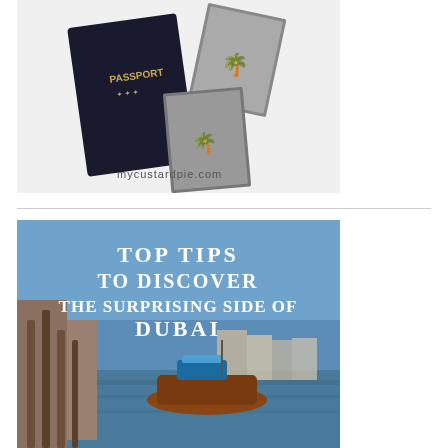[Figure (photo): Black and white photo of passports and travel photos on a white surface, with text 'mycustardpie.com' overlaid]
[Figure (photo): Photo of Dubai waterway/creek with wooden abra boat and docks, overlaid with white decorative text reading 'TOP TIPS TO DISCOVER THE SURPRISING SIDE OF DUBAI']